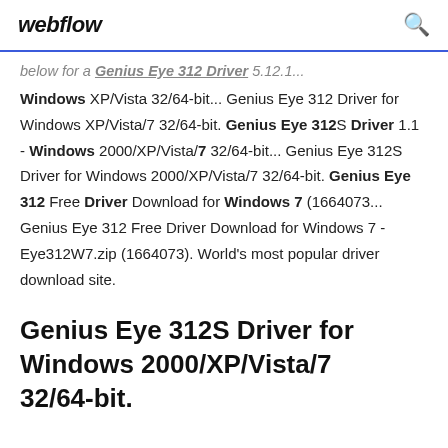webflow
below for a Genius Eye 312 Driver 5.12.1...
Windows XP/Vista 32/64-bit... Genius Eye 312 Driver for Windows XP/Vista/7 32/64-bit. Genius Eye 312S Driver 1.1 - Windows 2000/XP/Vista/7 32/64-bit... Genius Eye 312S Driver for Windows 2000/XP/Vista/7 32/64-bit. Genius Eye 312 Free Driver Download for Windows 7 (1664073... Genius Eye 312 Free Driver Download for Windows 7 - Eye312W7.zip (1664073). World's most popular driver download site.
Genius Eye 312S Driver for Windows 2000/XP/Vista/7 32/64-bit.